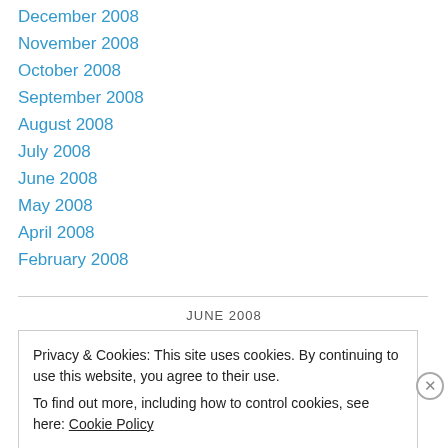December 2008
November 2008
October 2008
September 2008
August 2008
July 2008
June 2008
May 2008
April 2008
February 2008
JUNE 2008
Privacy & Cookies: This site uses cookies. By continuing to use this website, you agree to their use.
To find out more, including how to control cookies, see here: Cookie Policy
Close and accept